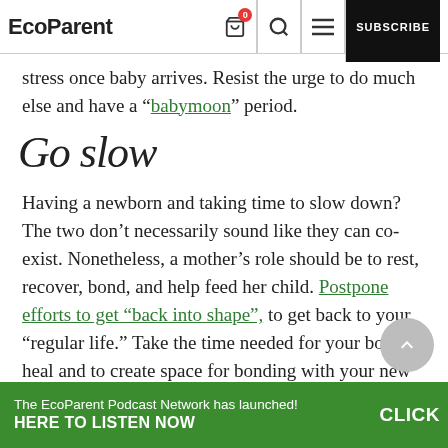EcoParent | SUBSCRIBE
stress once baby arrives. Resist the urge to do much else and have a “babymoon” period.
Go slow
Having a newborn and taking time to slow down? The two don’t necessarily sound like they can co-exist. Nonetheless, a mother’s role should be to rest, recover, bond, and help feed her child. Postpone efforts to get “back into shape”, to get back to your “regular life.” Take the time needed for your body to heal and to create space for bonding with your new baby.
The EcoParent Podcast Network has launched! CLICK HERE TO LISTEN NOW